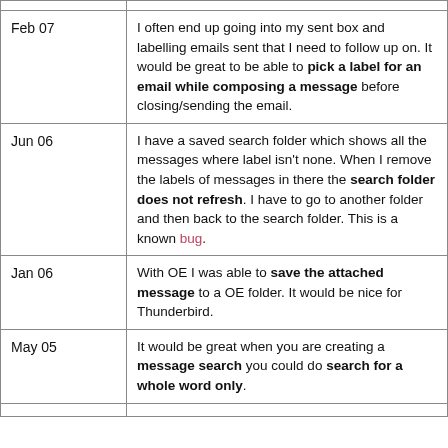| Date | Description |
| --- | --- |
| Feb 07 | I often end up going into my sent box and labelling emails sent that I need to follow up on. It would be great to be able to pick a label for an email while composing a message before closing/sending the email. |
| Jun 06 | I have a saved search folder which shows all the messages where label isn't none. When I remove the labels of messages in there the search folder does not refresh. I have to go to another folder and then back to the search folder. This is a known bug. |
| Jan 06 | With OE I was able to save the attached message to a OE folder. It would be nice for Thunderbird. |
| May 05 | It would be great when you are creating a message search you could do search for a whole word only. |
|  |  |